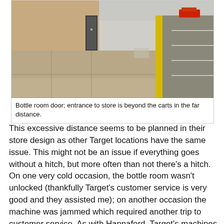[Figure (photo): Exterior photo showing a sidewalk along a store wall with a bottle room door visible on the left and a yellow-striped parking area to the right. A red car is visible in the far background.]
Bottle room door; entrance to store is beyond the carts in the far distance.
This excessive distance seems to be planned in their store design as other Target locations have the same issue.  This might not be an issue if everything goes without a hitch, but more often than not there's a hitch.  On one very cold occasion, the bottle room wasn't unlocked (thankfully Target's customer service is very good and they assisted me); on another occasion the machine was jammed which required another trip to customer service.  As with Hannaford, Target's machines do not recognize the 12 ounce plastic Dr. Pepper (and the irony is that my wife usually buys these 8 packs at Target or Hannaford).  Due to my consistent bad experiences, I try to avoid returning bottles to Target.